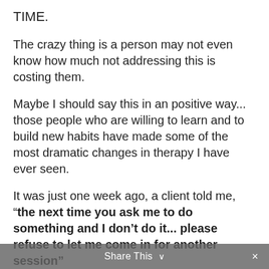TIME.
The crazy thing is a person may not even know how much not addressing this is costing them.
Maybe I should say this in an positive way... those people who are willing to learn and to build new habits have made some of the most dramatic changes in therapy I have ever seen.
It was just one week ago, a client told me, “the next time you ask me to do something and I don’t do it... please refuse to let me come in for another session”
At first I was shocked she had said this.... she wanted me to NOT TREAT HER unless she
Share This ∨  ×